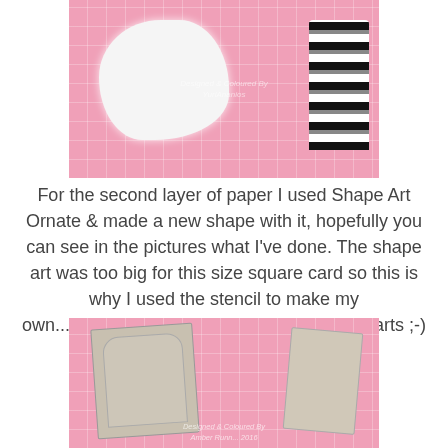[Figure (photo): Photo of a white ornate shape/stencil on a pink cutting mat with black and white striped element visible on the right side.]
For the second layer of paper I used Shape Art Ornate & made a new shape with it, hopefully you can see in the pictures what I've done. The shape art was too big for this size square card so this is why I used the stencil to make my own..........another fab used for these shape arts ;-)
Below is the shape I made.
[Figure (photo): Photo of a hand-cut card shape placed on a pink cutting mat, showing a decorative arch-shaped piece of grey cardstock with a second piece partially visible on the right.]